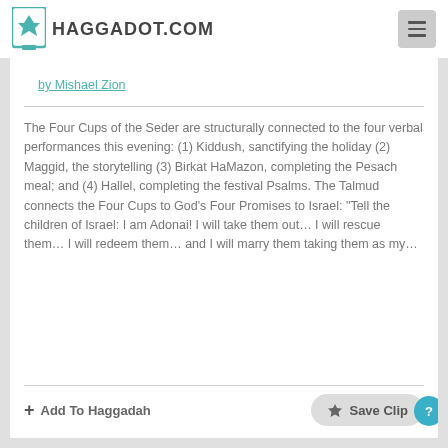HAGGADOT.COM
by Mishael Zion
The Four Cups of the Seder are structurally connected to the four verbal performances this evening: (1) Kiddush, sanctifying the holiday (2) Maggid, the storytelling (3) Birkat HaMazon, completing the Pesach meal; and (4) Hallel, completing the festival Psalms. The Talmud connects the Four Cups to God’s Four Promises to Israel: “Tell the children of Israel: I am Adonai! I will take them out… I will rescue them… I will redeem them… and I will marry them taking them as my…
Add To Haggadah
Save Clip